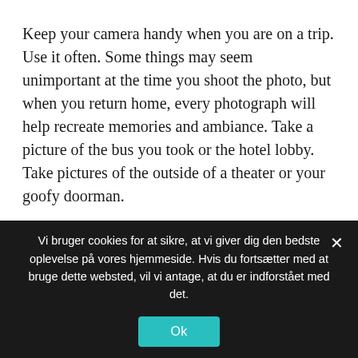Keep your camera handy when you are on a trip. Use it often. Some things may seem unimportant at the time you shoot the photo, but when you return home, every photograph will help recreate memories and ambiance. Take a picture of the bus you took or the hotel lobby. Take pictures of the outside of a theater or your goofy doorman.
Make sure you read the manual that came with your camera. Manuals are often bulky and thick. People tend to place them at the back of drawers or they get thrown away. Instead of throwing it out, take the time to read it. You can take better photographs
Vi bruger cookies for at sikre, at vi giver dig den bedste oplevelse på vores hjemmeside. Hvis du fortsætter med at bruge dette websted, vil vi antage, at du er indforstået med det.